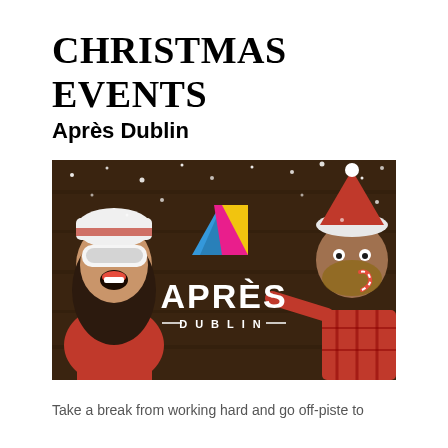CHRISTMAS EVENTS
Après Dublin
[Figure (photo): Promotional image for Après Dublin Christmas event. A woman in ski gear (white and red knitted sweater, ski goggles on head, white hat) laughing on the left side. In the center is the Après Dublin logo: a colorful mountain shape with blue, pink, and yellow sections above bold white text reading 'APRÈS' and 'DUBLIN' below. A man in a red plaid shirt and Santa hat on the right side pointing at the logo. Dark wooden background with falling snow effect.]
Take a break from working hard and go off-piste to